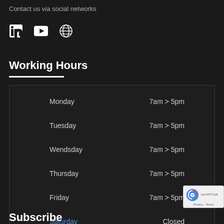Contact us via social networks
[Figure (other): Social media icons: LinkedIn, YouTube, Globe/Website]
Working Hours
| Day | Hours |
| --- | --- |
| Monday | 7am > 5pm |
| Tuesday | 7am > 5pm |
| Wendsday | 7am > 5pm |
| Thursday | 7am > 5pm |
| Friday | 7am > 5pm |
| Saturday | Closed |
| Sunday | Closed |
Subscribe